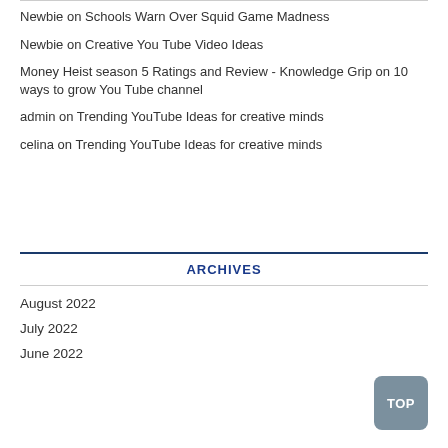Newbie on Schools Warn Over Squid Game Madness
Newbie on Creative You Tube Video Ideas
Money Heist season 5 Ratings and Review - Knowledge Grip on 10 ways to grow You Tube channel
admin on Trending YouTube Ideas for creative minds
celina on Trending YouTube Ideas for creative minds
ARCHIVES
August 2022
July 2022
June 2022